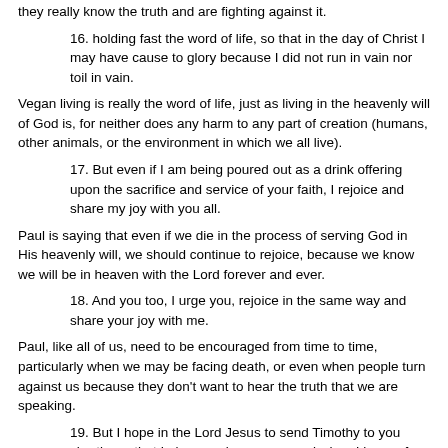they really know the truth and are fighting against it.
16. holding fast the word of life, so that in the day of Christ I may have cause to glory because I did not run in vain nor toil in vain.
Vegan living is really the word of life, just as living in the heavenly will of God is, for neither does any harm to any part of creation (humans, other animals, or the environment in which we all live).
17. But even if I am being poured out as a drink offering upon the sacrifice and service of your faith, I rejoice and share my joy with you all.
Paul is saying that even if we die in the process of serving God in His heavenly will, we should continue to rejoice, because we know we will be in heaven with the Lord forever and ever.
18. And you too, I urge you, rejoice in the same way and share your joy with me.
Paul, like all of us, need to be encouraged from time to time, particularly when we may be facing death, or even when people turn against us because they don't want to hear the truth that we are speaking.
19. But I hope in the Lord Jesus to send Timothy to you shortly, so that I also may be encouraged when I learn of your condition.
20. For I have no one else of kindred spirit who will genuinely be concerned for your welfare.
We should all seek to be like Timothy, who is truly hearing heavenly intent, so that we think like Jesus, and minister in the same way that He did.
21. For they all seek after their own interests, not those of Christ